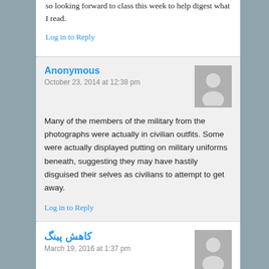so looking forward to class this week to help digest what I read.
Log in to Reply
Anonymous
October 23, 2014 at 12:38 pm
Many of the members of the military from the photographs were actually in civilian outfits. Some were actually displayed putting on military uniforms beneath, suggesting they may have hastily disguised their selves as civilians to attempt to get away.
Log in to Reply
كاهش پينگ
March 19, 2016 at 1:37 pm